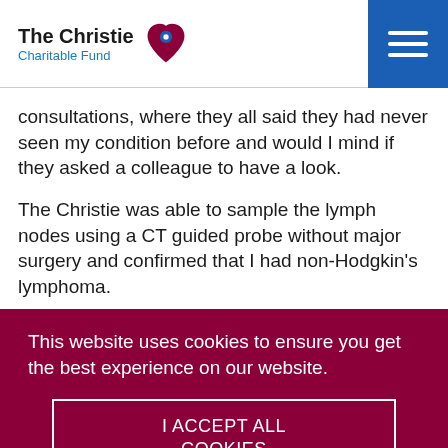The Christie Charitable Fund
consultations, where they all said they had never seen my condition before and would I mind if they asked a colleague to have a look.
The Christie was able to sample the lymph nodes using a CT guided probe without major surgery and confirmed that I had non-Hodgkin's lymphoma.
This website uses cookies to ensure you get the best experience on our website.
I ACCEPT ALL COOKIES